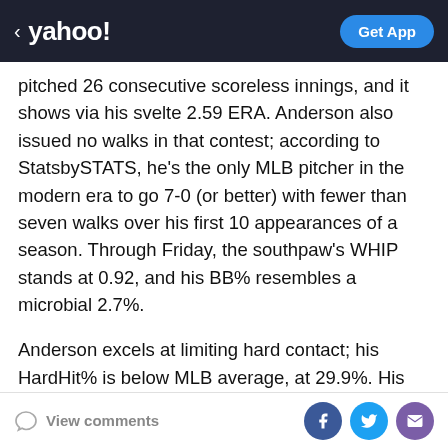< yahoo! | Get App
pitched 26 consecutive scoreless innings, and it shows via his svelte 2.59 ERA. Anderson also issued no walks in that contest; according to StatsbySTATS, he's the only MLB pitcher in the modern era to go 7-0 (or better) with fewer than seven walks over his first 10 appearances of a season. Through Friday, the southpaw's WHIP stands at 0.92, and his BB% resembles a microbial 2.7%.
Anderson excels at limiting hard contact; his HardHit% is below MLB average, at 29.9%. His average exit velocity is amongst the top of the league, at 85.9 MPH. Anderson's changeup allows him to miss bats; it's averaged out at a speedy 79.2 MPH, and is absolutely his best pitch. It's also
View comments